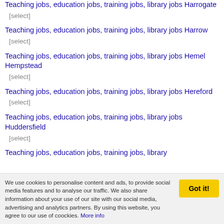Teaching jobs, education jobs, training jobs, library jobs Harrogate
[select]
Teaching jobs, education jobs, training jobs, library jobs Harrow
[select]
Teaching jobs, education jobs, training jobs, library jobs Hemel Hempstead
[select]
Teaching jobs, education jobs, training jobs, library jobs Hereford
[select]
Teaching jobs, education jobs, training jobs, library jobs Huddersfield
[select]
Teaching jobs, education jobs, training jobs, library
We use cookies to personalise content and ads, to provide social media features and to analyse our traffic. We also share information about your use of our site with our social media, advertising and analytics partners. By using this website, you agree to our use of coockies. More info